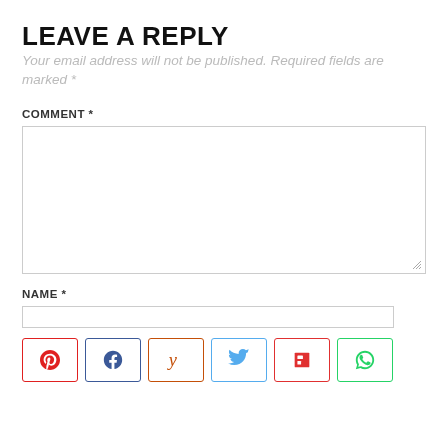LEAVE A REPLY
Your email address will not be published. Required fields are marked *
COMMENT *
NAME *
[Figure (screenshot): Social share buttons row: Pinterest (red border, P icon), Facebook (blue border, f icon), Yummly (orange border, y icon), Twitter (light blue border, bird icon), Flipboard (red border, f icon), WhatsApp (green border, phone icon)]